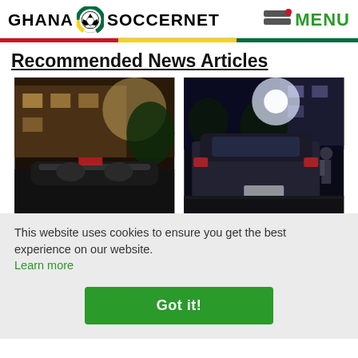GHANA SOCCERNET MENU
Recommended News Articles
[Figure (photo): Two nighttime photos side by side showing cars on a street, with a building and bright lights in the background.]
This website uses cookies to ensure you get the best experience on our website. Learn more
Got it!